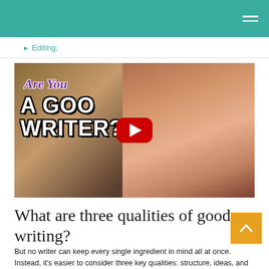Editing;
[Figure (screenshot): YouTube video thumbnail showing a woman with red hair and glasses in front of a bookshelf. Text on thumbnail reads 'Are You A GOOD WRITER?' in purple script and bold white letters. A red YouTube play button is centered on the image.]
What are three qualities of good writing?
But no writer can keep every single ingredient in mind all at once. Instead, it's easier to consider three key qualities: structure, ideas, and correctness. All